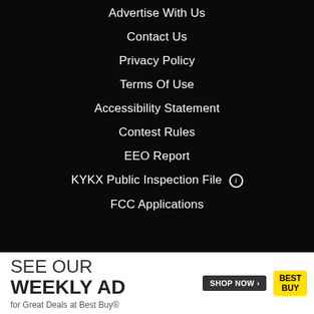Advertise With Us
Contact Us
Privacy Policy
Terms Of Use
Accessibility Statement
Contest Rules
EEO Report
KYKX Public Inspection File ⓘ
FCC Applications
ALPHA MEDIA
[Figure (illustration): Best Buy advertisement banner: 'SEE OUR WEEKLY AD for Great Deals at Best Buy®' with SHOP NOW button and Best Buy logo]